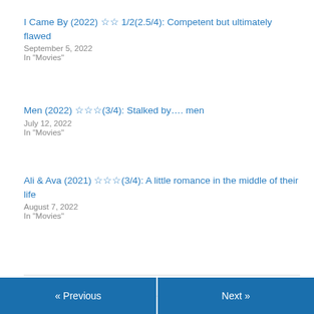I Came By (2022) ☆☆ 1/2(2.5/4): Competent but ultimately flawed
September 5, 2022
In "Movies"
Men (2022) ☆☆☆(3/4): Stalked by…. men
July 12, 2022
In "Movies"
Ali & Ava (2021) ☆☆☆(3/4): A little romance in the middle of their life
August 7, 2022
In "Movies"
August 5, 2017    Leave a Reply
« Previous    Next »